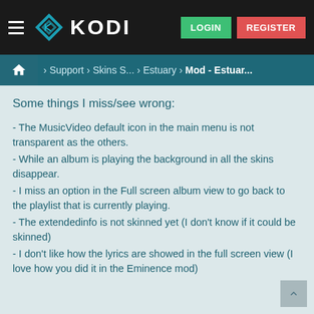KODI — LOGIN | REGISTER
Home > Support > Skins S... > Estuary > Mod - Estuar...
Some things I miss/see wrong:
- The MusicVideo default icon in the main menu is not transparent as the others.
- While an album is playing the background in all the skins disappear.
- I miss an option in the Full screen album view to go back to the playlist that is currently playing.
- The extendedinfo is not skinned yet (I don't know if it could be skinned)
- I don't like how the lyrics are showed in the full screen view (I love how you did it in the Eminence mod)